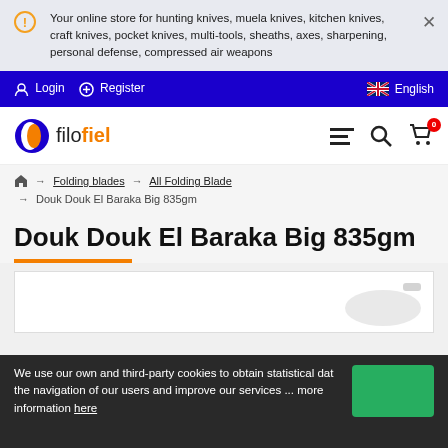Your online store for hunting knives, muela knives, kitchen knives, craft knives, pocket knives, multi-tools, sheaths, axes, sharpening, personal defense, compressed air weapons
Login  Register  English
[Figure (logo): filofiel logo with orange/blue circle icon]
⌂ → Folding blades → All Folding Blade → Douk Douk El Baraka Big 835gm
Douk Douk El Baraka Big 835gm
We use our own and third-party cookies to obtain statistical data the navigation of our users and improve our services ... more information here